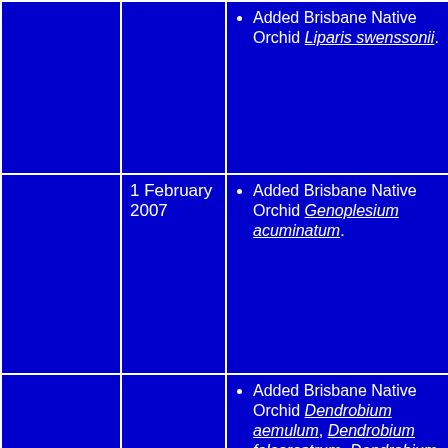|  | Date | Changes |
| --- | --- | --- |
|  |  | Added Brisbane Native Orchid Liparis swenssonii. |
|  | 1 February 2007 | Added Brisbane Native Orchid Genoplesium acuminatum. |
|  | 10 January 2007 | Added Brisbane Native Orchid Dendrobium aemulum, Dendrobium falcorostrum, Dendrobium gracilicaule, Dendrobium kingianum subsp. kingianum, Dendrobium monophyllum, Dendrobium schneiderae, Dendrobium speciosum subsp... |